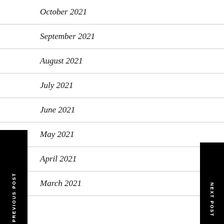October 2021
September 2021
August 2021
July 2021
June 2021
May 2021
April 2021
March 2021